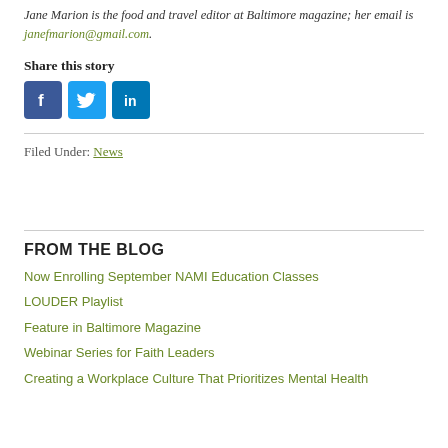Jane Marion is the food and travel editor at Baltimore magazine; her email is janefmarion@gmail.com.
Share this story
[Figure (other): Social media sharing icons: Facebook (blue), Twitter (light blue), LinkedIn (dark blue)]
Filed Under: News
FROM THE BLOG
Now Enrolling September NAMI Education Classes
LOUDER Playlist
Feature in Baltimore Magazine
Webinar Series for Faith Leaders
Creating a Workplace Culture That Prioritizes Mental Health